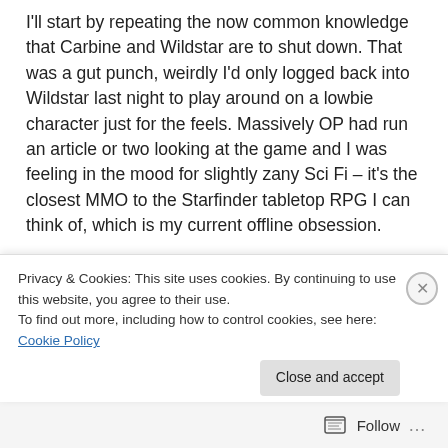I'll start by repeating the now common knowledge that Carbine and Wildstar are to shut down. That was a gut punch, weirdly I'd only logged back into Wildstar last night to play around on a lowbie character just for the feels. Massively OP had run an article or two looking at the game and I was feeling in the mood for slightly zany Sci Fi – it's the closest MMO to the Starfinder tabletop RPG I can think of, which is my current offline obsession.
[Figure (screenshot): Screenshot from Wildstar game showing sci-fi environment with dark industrial setting, glowing elements in green and blue, structures in background]
Privacy & Cookies: This site uses cookies. By continuing to use this website, you agree to their use.
To find out more, including how to control cookies, see here: Cookie Policy
Close and accept
Follow